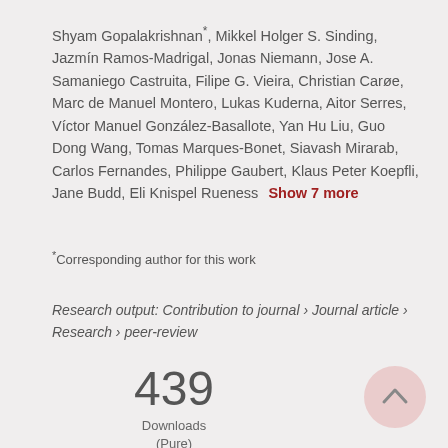Shyam Gopalakrishnan*, Mikkel Holger S. Sinding, Jazmín Ramos-Madrigal, Jonas Niemann, Jose A. Samaniego Castruita, Filipe G. Vieira, Christian Carøe, Marc de Manuel Montero, Lukas Kuderna, Aitor Serres, Víctor Manuel González-Basallote, Yan Hu Liu, Guo Dong Wang, Tomas Marques-Bonet, Siavash Mirarab, Carlos Fernandes, Philippe Gaubert, Klaus Peter Koepfli, Jane Budd, Eli Knispel Rueness  Show 7 more
*Corresponding author for this work
Research output: Contribution to journal › Journal article › Research › peer-review
439 Downloads (Pure)